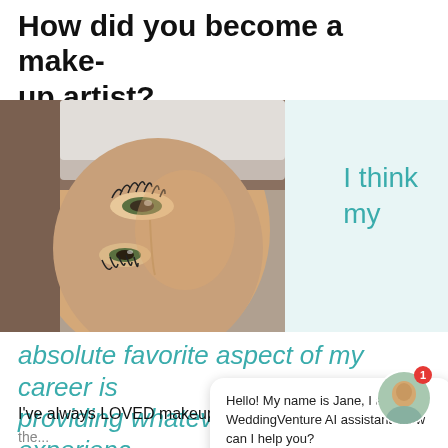How did you become a make-up artist?
[Figure (photo): Close-up photo of a woman's face lying down, eyes open, visible eyelashes and lashes extended, natural skin, hair pulled back]
I think my
absolute favorite aspect of my career is providing whatever, 'me time' experienc
Hello! My name is Jane, I am a WeddingVenture AI assistant. How can I help you?
I've always LOVED makeup. My mother has darker skin the...